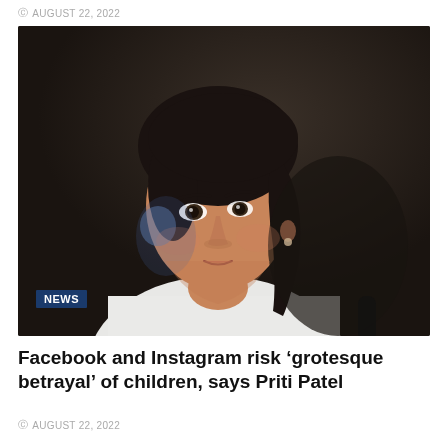AUGUST 22, 2022
[Figure (photo): Close-up photo of a woman with dark hair looking upward, wearing white, with a 'NEWS' badge overlay in the lower left corner. Dark background.]
Facebook and Instagram risk ‘grotesque betrayal’ of children, says Priti Patel
AUGUST 22, 2022